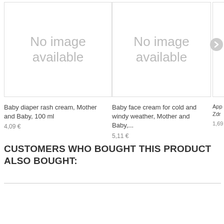[Figure (illustration): No image available placeholder box, top-left product]
Baby diaper rash cream, Mother and Baby, 100 ml
4,09 €
[Figure (illustration): No image available placeholder box, top-center product]
Baby face cream for cold and windy weather, Mother and Baby,...
5,11 €
[Figure (illustration): No image available placeholder box, top-right product (partially visible)]
App... Zdr...
1,69...
CUSTOMERS WHO BOUGHT THIS PRODUCT ALSO BOUGHT:
[Figure (illustration): No image available placeholder box, bottom-left]
[Figure (illustration): No image available placeholder box, bottom-center]
[Figure (illustration): No image available placeholder box, bottom-right (partially visible)]